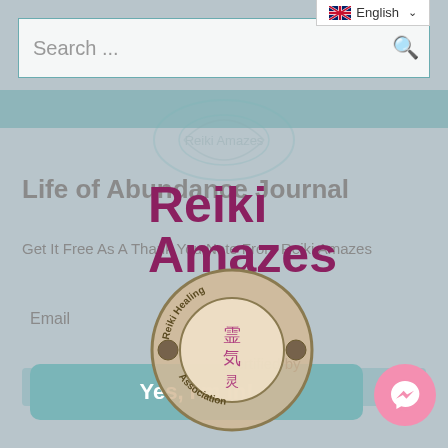[Figure (screenshot): Website screenshot showing a search bar at top, language selector (English with UK flag), a popup modal overlay for 'Reiki Amazes' website with 'Life of Abundance Journal' title, email and name fields, 'Yes, I'm in!' button, Reiki Healing Association certification seal, and a pink Messenger chat button.]
Search ...
English
Life of Abundance Journal
Get It Free As A Thank You Note From Reiki Amazes
Reiki
Amazes
certified by
Email
Name
Yes, I'm in!